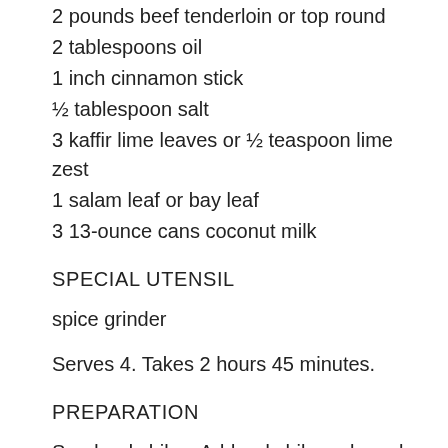2 pounds beef tenderloin or top round
2 tablespoons oil
1 inch cinnamon stick
½ tablespoon salt
3 kaffir lime leaves or ½ teaspoon lime zest
1 salam leaf or bay leaf
3 13-ounce cans coconut milk
SPECIAL UTENSIL
spice grinder
Serves 4. Takes 2 hours 45 minutes.
PREPARATION
Seed red chiles. Add red chile, galangal, garlic cloves, peppercorns, shallots, and turmeric to spice grinder. Grind until these spices become paste. Remove and discard upper ⅔rd of lemongrass stalk. Remove and discard the three outer layers. Dice remaining lemongrass. Cut beef into 1"